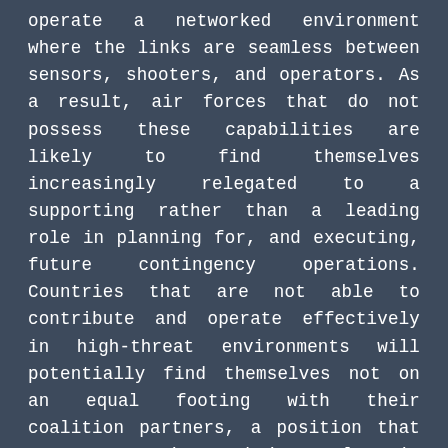operate a networked environment where the links are seamless between sensors, shooters, and operators. As a result, air forces that do not possess these capabilities are likely to find themselves increasingly relegated to a supporting rather than a leading role in planning for, and executing, future contingency operations. Countries that are not able to contribute and operate effectively in high-threat environments will potentially find themselves not on an equal footing with their coalition partners, a position that may compromise their role in military operations and, increasingly, political decision-making. Except for Australia, all the original nine partner countries are NATO members, allowing the smaller air forces of the Alliance – such as Spain and Belgium – to mitigate the limitations of their continued